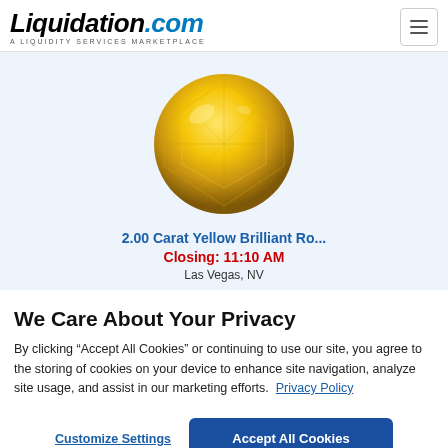Liquidation.com — A LIQUIDITY SERVICES MARKETPLACE
[Figure (photo): Round brilliant-cut yellow diamond gemstone on white background]
2.00 Carat Yellow Brilliant Ro...
Closing: 11:10 AM
Las Vegas, NV
We Care About Your Privacy
By clicking “Accept All Cookies” or continuing to use our site, you agree to the storing of cookies on your device to enhance site navigation, analyze site usage, and assist in our marketing efforts.  Privacy Policy
Customize Settings
Accept All Cookies